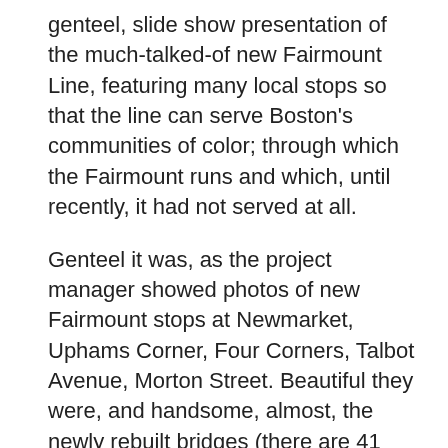genteel, slide show presentation of the much-talked-of new Fairmount Line, featuring many local stops so that the line can serve Boston's communities of color; through which the Fairmount runs and which, until recently, it had not served at all.
Genteel it was, as the project manager showed photos of new Fairmount stops at Newmarket, Uphams Corner, Four Corners, Talbot Avenue, Morton Street. Beautiful they were, and handsome, almost, the newly rebuilt bridges (there are 41 bridges on the Fairmount, said the project guy) over Columbia Road and Massachusetts Avenue. All of it done and the stations open, operating and doing just fine.